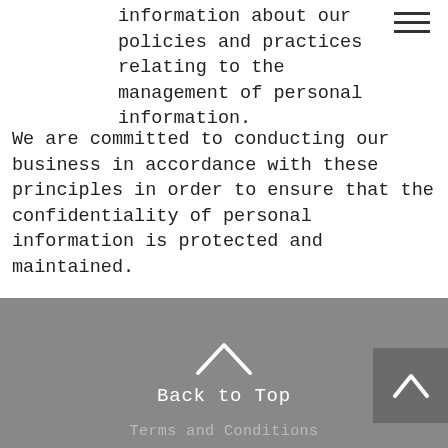information about our policies and practices relating to the management of personal information. We are committed to conducting our business in accordance with these principles in order to ensure that the confidentiality of personal information is protected and maintained.
[Figure (other): Hamburger menu icon (three horizontal lines) in top right corner]
Back to Top
Terms and Conditions